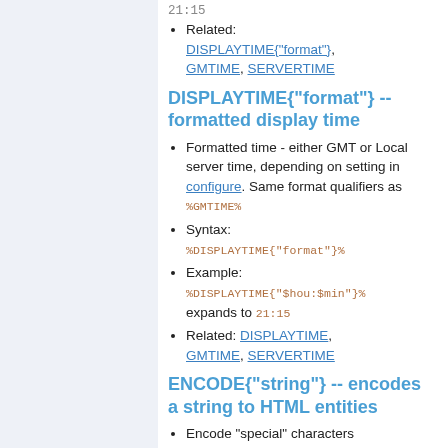21:15
Related: DISPLAYTIME{"format"}, GMTIME, SERVERTIME
DISPLAYTIME{"format"} -- formatted display time
Formatted time - either GMT or Local server time, depending on setting in configure. Same format qualifiers as %GMTIME%
Syntax: %DISPLAYTIME{"format"}%
Example: %DISPLAYTIME{"$hou:$min"}% expands to 21:15
Related: DISPLAYTIME, GMTIME, SERVERTIME
ENCODE{"string"} -- encodes a string to HTML entities
Encode "special" characters